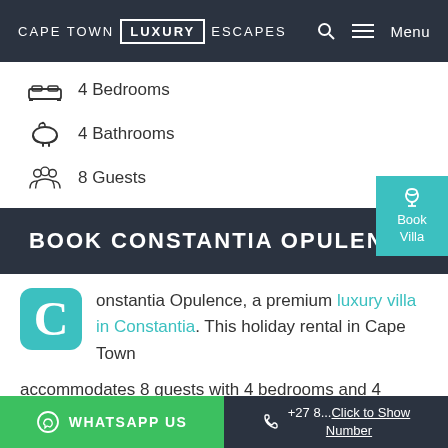CAPE TOWN LUXURY ESCAPES  Menu
4 Bedrooms
4 Bathrooms
8 Guests
BOOK CONSTANTIA OPULENCE
Constantia Opulence, a premium luxury villa in Constantia. This holiday rental in Cape Town accommodates 8 guests with 4 bedrooms and 4 bathrooms. Contact us today for daily rates and availability
WHATSAPP US  +27 8...Click to Show Number